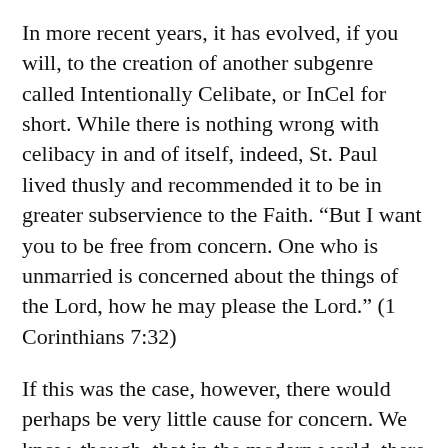In more recent years, it has evolved, if you will, to the creation of another subgenre called Intentionally Celibate, or InCel for short. While there is nothing wrong with celibacy in and of itself, indeed, St. Paul lived thusly and recommended it to be in greater subservience to the Faith. “But I want you to be free from concern. One who is unmarried is concerned about the things of the Lord, how he may please the Lord.” (1 Corinthians 7:32)
If this was the case, however, there would perhaps be very little cause for concern. We know, though, that in the modern world, there are young men addicted to pornography at epidemic levels. Socially, there is a perverse correlation in the...